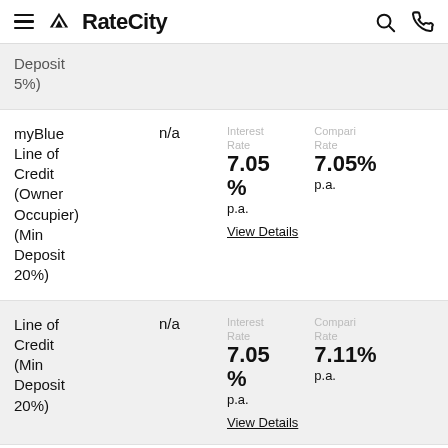RateCity
Deposit 5%)
myBlue Line of Credit (Owner Occupier) (Min Deposit 20%) | n/a | Interest Rate: 7.05% p.a. | Comparison Rate: 7.05% p.a. | View Details
Line of Credit (Min Deposit 20%) | n/a | Interest Rate: 7.05% p.a. | Comparison Rate: 7.11% p.a. | View Details